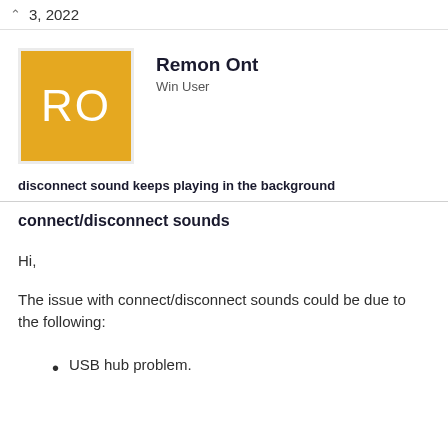3, 2022
[Figure (illustration): Golden/yellow square avatar with white letters RO representing user Remon Ont]
Remon Ont
Win User
disconnect sound keeps playing in the background
connect/disconnect sounds
Hi,
The issue with connect/disconnect sounds could be due to the following:
USB hub problem.